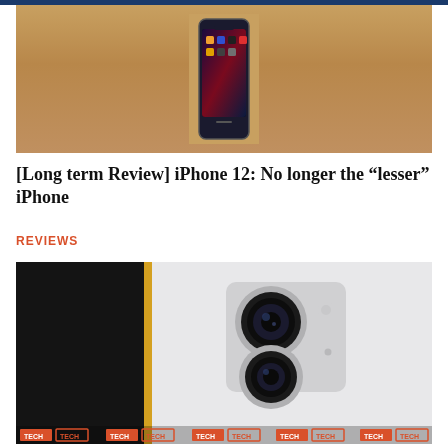[Figure (photo): iPhone 12 displayed face-up on a wooden surface, showing the home screen with various app icons]
[Long term Review] iPhone 12: No longer the “lesser” iPhone
REVIEWS
[Figure (photo): Close-up of the back of a white iPhone 12 showing the dual camera system with two circular camera lenses and flash]